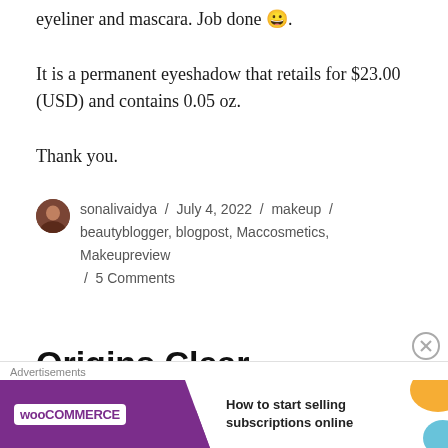eyeliner and mascara. Job done 😀.
It is a permanent eyeshadow that retails for $23.00 (USD) and contains 0.05 oz.
Thank you.
sonalivaidya / July 4, 2022 / makeup / beautyblogger, blogpost, Maccosmetics, Makeupreview / 5 Comments
Origins Clear
[partial text, cut off]
[Figure (other): WooCommerce advertisement banner: 'How to start selling subscriptions online']